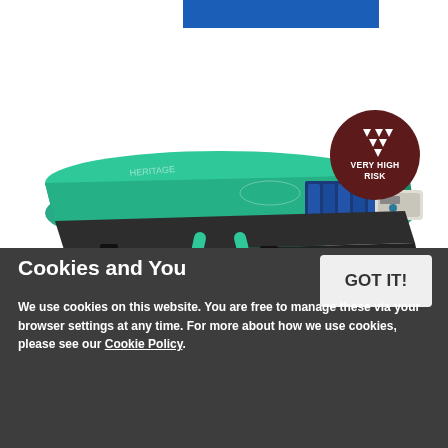[Figure (photo): Product photo of a green alternating pressure relief mattress with pump unit, partially unzipped showing blue air cells, with green carry handle. Positioned on white background.]
[Figure (other): Dark red circular badge with white diamond pattern and text 'VERY HIGH RISK']
Heritage Digital II Alternating Pressure Relief
Cookies and You
We use cookies on this website. You are free to manage these via your browser settings at any time. For more about how we use cookies, please see our Cookie Policy.
GOT IT!
£1,619.99
(INC 20% VAT)
(£1,359.99 EX VAT)